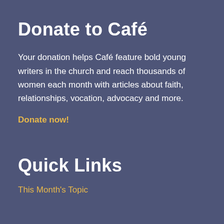Donate to Café
Your donation helps Café feature bold young writers in the church and reach thousands of women each month with articles about faith, relationships, vocation, advocacy and more.
Donate now!
Quick Links
This Month's Topic